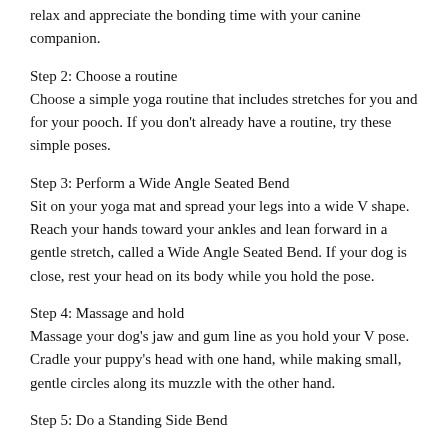relax and appreciate the bonding time with your canine companion.
Step 2: Choose a routine
Choose a simple yoga routine that includes stretches for you and for your pooch. If you don't already have a routine, try these simple poses.
Step 3: Perform a Wide Angle Seated Bend
Sit on your yoga mat and spread your legs into a wide V shape. Reach your hands toward your ankles and lean forward in a gentle stretch, called a Wide Angle Seated Bend. If your dog is close, rest your head on its body while you hold the pose.
Step 4: Massage and hold
Massage your dog's jaw and gum line as you hold your V pose. Cradle your puppy's head with one hand, while making small, gentle circles along its muzzle with the other hand.
Step 5: Do a Standing Side Bend